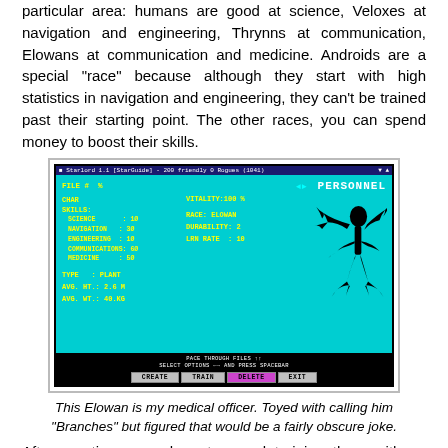particular area: humans are good at science, Veloxes at navigation and engineering, Thrynns at communication, Elowans at communication and medicine. Androids are a special "race" because although they start with high statistics in navigation and engineering, they can't be trained past their starting point. The other races, you can spend money to boost their skills.
[Figure (screenshot): Game screenshot showing the PERSONNEL screen with character stats for an Elowan character including SCIENCE, NAVIGATION, ENGINEERING, COMMUNICATIONS, MEDICINE skills, VITALITY, RACE, DURABILITY, LEARN RATE fields, and a silhouette figure of a plant-like alien (Elowan). Bottom buttons: CREATE, TRAIN, DELETE, EXIT.]
This Elowan is my medical officer. Toyed with calling him "Branches" but figured that would be a fairly obscure joke.
After creating your characters and training them with as much as you can afford, you head over to "Crew Assignment" and determine what role each crew member will